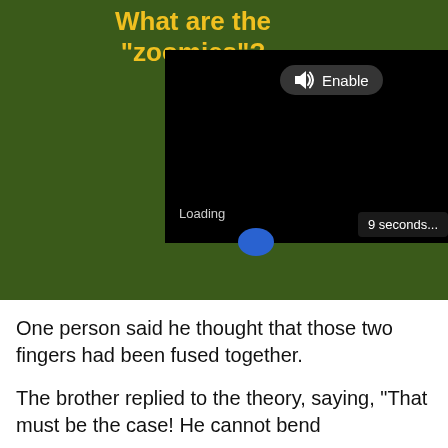[Figure (screenshot): A screenshot of a webpage showing a grass background with the title 'What are the "zoomies"?' in bold yellow text, overlaid by a video player in loading state with an Enable audio button and a '9 seconds...' countdown badge. A partial blue circle is visible at the bottom of the grass image.]
One person said he thought that those two fingers had been fused together.
The brother replied to the theory, saying, "That must be the case! He cannot bend